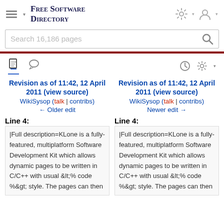Free Software Directory
Search 16,186 pages
Revision as of 11:42, 12 April 2011 (view source)
WikiSysop (talk | contribs)
← Older edit
Revision as of 11:42, 12 April 2011 (view source)
WikiSysop (talk | contribs)
Newer edit →
Line 4:
Line 4:
|Full description=KLone is a fully-featured, multiplatform Software Development Kit which allows dynamic pages to be written in C/C++ with usual &lt;% code %&gt; style. The pages can then
|Full description=KLone is a fully-featured, multiplatform Software Development Kit which allows dynamic pages to be written in C/C++ with usual &lt;% code %&gt; style. The pages can then